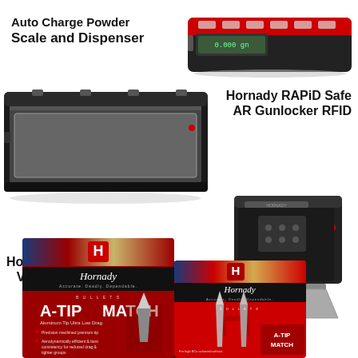Auto Charge Powder Scale and Dispenser
[Figure (photo): Red and black Auto Charge Powder Scale and Dispenser device with keypad buttons on top]
[Figure (photo): Hornady RAPiD Safe AR Gunlocker RFID - dark rectangular gun storage safe shown open]
Hornady RAPiD Safe AR Gunlocker RFID
Hornady RAPiD Vehicle Safe RFID
[Figure (photo): Hornady RAPiD Safe small black unit with open door, showing interior]
[Figure (photo): Hornady RAPiD Vehicle Safe RFID - black pouch and metal door/panel with cable]
[Figure (photo): Hornady A-TIP Match bullet box - red packaging with bullet imagery]
[Figure (photo): Hornady A-TIP Match bullets box - red packaging, second view]